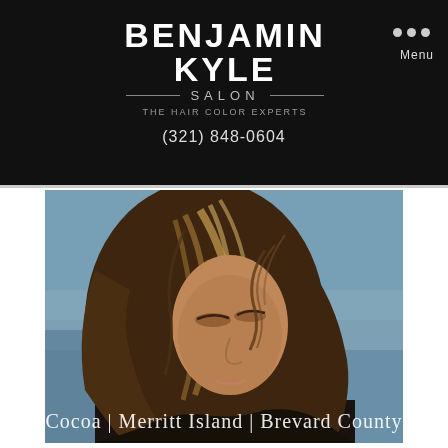BENJAMIN KYLE SALON — THE HAIR COLOR EXPERTS
(321) 848-0604
[Figure (photo): Portrait of a woman with flowing highlighted hair, eyes closed, smiling slightly, against a blurred beach/sky background. Text overlay: Cocoa | Merritt Island | Brevard County]